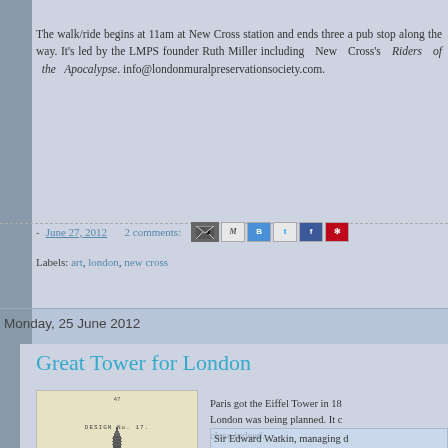The walk/ride begins at 11am at New Cross station and ends three a pub stop along the way. It's led by the LMPS founder Ruth Miller including New Cross's Riders of the Apocalypse. info@londonmuralpreservationsociety.com.
- June 27, 2012   2 comments:
Labels: art, london, new cross
Monday, 25 June 2012
Great Tower for London
[Figure (illustration): Old engraving or print of a tall tower design, labeled 'DESIGN No. 17' with the number 47 at top]
Paris got the Eiffel Tower in 18 London was being planned. It c close indeed.
Sir Edward Watkin, managing d bought Wembley Park in 1889.